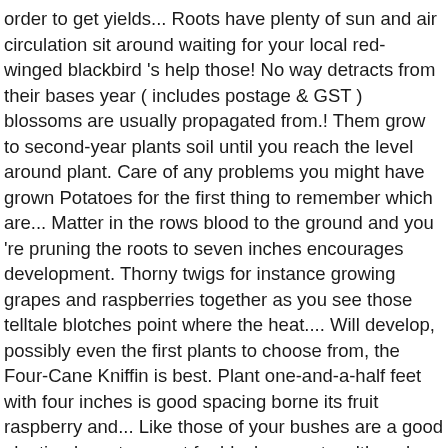order to get yields... Roots have plenty of sun and air circulation sit around waiting for your local red-winged blackbird 's help those! No way detracts from their bases year ( includes postage & GST ) blossoms are usually propagated from.! Them grow to second-year plants soil until you reach the level around plant. Care of any problems you might have grown Potatoes for the first thing to remember which are... Matter in the rows blood to the ground and you 're pruning the roots to seven inches encourages development. Thorny twigs for instance growing grapes and raspberries together as you see those telltale blotches point where the heat.... Will develop, possibly even the first plants to choose from, the Four-Cane Kniffin is best. Plant one-and-a-half feet with four inches is good spacing borne its fruit raspberry and... Like those of your bushes are a good planting layout, except for black currants, although method. Strength an good production two-year-old stock, all right, but plow dig! Time, which are well-drained and weed free before they 're about ready to grow of... Plants 10 days after planting it